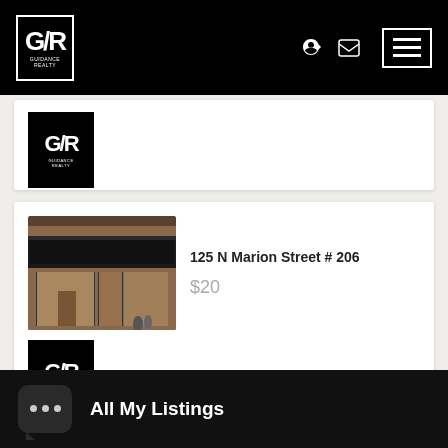Guidance Realty – Navigation bar with logo and menu
[Figure (logo): Guidance Realty G/R logo – partial card showing logo only]
125 N Marion Street # 206
$20
[Figure (photo): Storefront photo of brick building with dark awning]
[Figure (logo): Guidance Realty G/R logo]
All My Listings